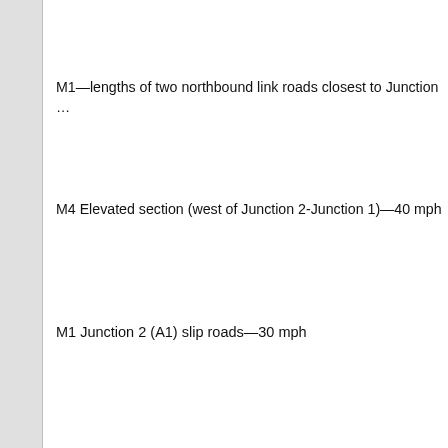M1—lengths of two northbound link roads closest to Junction …
M4 Elevated section (west of Junction 2-Junction 1)—40 mph
M1 Junction 2 (A1) slip roads—30 mph
M1 Junction 6 Southbound part of entry and exit slip roads—3…
M32 between J2 and 3—60 mph
M621 J1–6 30 and 40 mph speed limits on entry and exit slip r…
Planning Appeals (…
Mr. Bercow: To ask the Secretary of State for Transport, Local Govern… planning applications he has received in 2001 in respect of sites in the…
Ms Keeble: The provision of information on planning appeals is the re… Inspectorate's Chief Executive, Mr. Chris Shepley, to write to the hon…